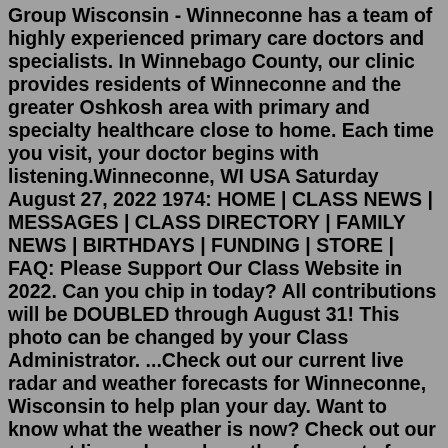Group Wisconsin - Winneconne has a team of highly experienced primary care doctors and specialists. In Winnebago County, our clinic provides residents of Winneconne and the greater Oshkosh area with primary and specialty healthcare close to home. Each time you visit, your doctor begins with listening.Winneconne, WI USA Saturday August 27, 2022 1974: HOME | CLASS NEWS | MESSAGES | CLASS DIRECTORY | FAMILY NEWS | BIRTHDAYS | FUNDING | STORE | FAQ: Please Support Our Class Website in 2022. Can you chip in today? All contributions will be DOUBLED through August 31! This photo can be changed by your Class Administrator. ...Check out our current live radar and weather forecasts for Winneconne, Wisconsin to help plan your day. Want to know what the weather is now? Check out our current live radar and weather forecasts for Winneconne, Wisconsin to help plan your day ... Latest Weather News. Today's National Outlook. Hurricane Center. Allergies & Pollen. Cold & Flu ...Winneconne, WI Home Local News Weather